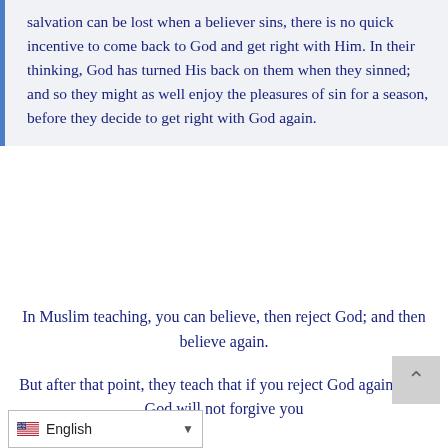salvation can be lost when a believer sins, there is no quick incentive to come back to God and get right with Him. In their thinking, God has turned His back on them when they sinned; and so they might as well enjoy the pleasures of sin for a season, before they decide to get right with God again.
In Muslim teaching, you can believe, then reject God; and then believe again.
But after that point, they teach that if you reject God again, then God will not forgive you